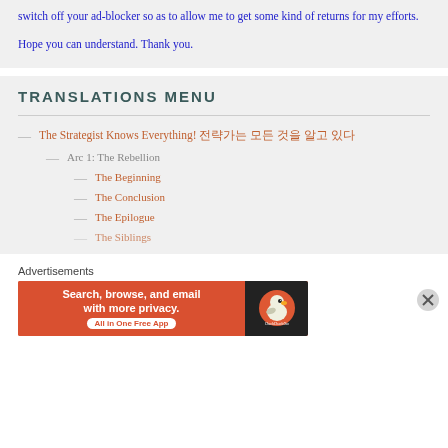switch off your ad-blocker so as to allow me to get some kind of returns for my efforts.

Hope you can understand. Thank you.
TRANSLATIONS MENU
— The Strategist Knows Everything! 전략가는 모든 것을 알고 있다
— Arc 1: The Rebellion
— The Beginning
— The Conclusion
— The Epilogue
— The Siblings
Advertisements
[Figure (other): DuckDuckGo advertisement banner: 'Search, browse, and email with more privacy. All in One Free App' with DuckDuckGo logo on dark background]